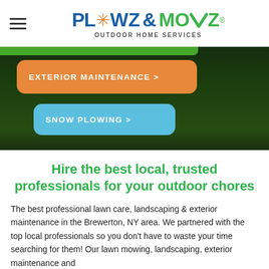[Figure (logo): Plowz & Mowz outdoor home services logo with snowflake icon, blue and green text]
[Figure (screenshot): Hero background showing dark green lawn/grass with orange 'EXTERIOR MAINTENANCE >' button and blue 'SNOW PLOWING >' button]
Hire the best local, trusted professionals for your outdoor chores
The best professional lawn care, landscaping & exterior maintenance in the Brewerton, NY area. We partnered with the top local professionals so you don't have to waste your time searching for them! Our lawn mowing, landscaping, exterior maintenance and